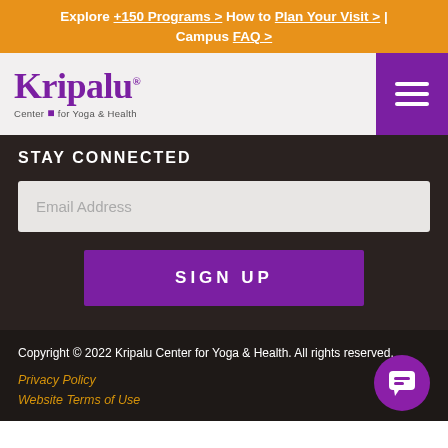Explore +150 Programs > How to Plan Your Visit > | Campus FAQ >
[Figure (logo): Kripalu Center for Yoga & Health logo with purple text and hamburger menu icon]
STAY CONNECTED
Email Address
SIGN UP
Copyright © 2022 Kripalu Center for Yoga & Health. All rights reserved.
Privacy Policy
Website Terms of Use